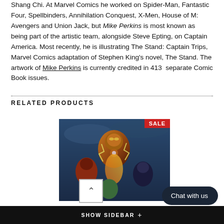Shang Chi. At Marvel Comics he worked on Spider-Man, Fantastic Four, Spellbinders, Annihilation Conquest, X-Men, House of M: Avengers and Union Jack, but Mike Perkins is most known as being part of the artistic team, alongside Steve Epting, on Captain America. Most recently, he is illustrating The Stand: Captain Trips, Marvel Comics adaptation of Stephen King's novel, The Stand. The artwork of Mike Perkins is currently credited in 413 separate Comic Book issues.
RELATED PRODUCTS
[Figure (photo): Comic book cover art showing Iron Man and other Marvel superheroes in action, with a red SALE badge in the top right corner.]
SHOW SIDEBAR +